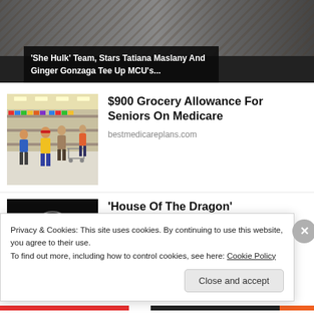[Figure (screenshot): Hero image of a TV show article with dark background and title overlay. Title: 'She Hulk' Team, Stars Tatiana Maslany And Ginger Gonzaga Tee Up MCU's...]
[Figure (photo): Photo of grocery store with people shopping, yellow jacket prominent]
$900 Grocery Allowance For Seniors On Medicare
bestmedicareplans.com
[Figure (photo): Dark image of House of the Dragon logo/symbol]
'House Of The Dragon' Showrunners - They Are The
Privacy & Cookies: This site uses cookies. By continuing to use this website, you agree to their use.
To find out more, including how to control cookies, see here: Cookie Policy
Close and accept